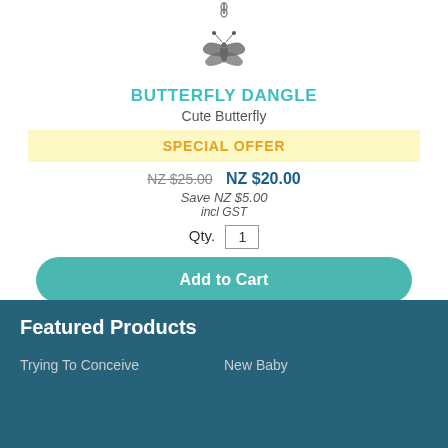[Figure (photo): A butterfly dangle charm jewelry piece hanging from a chain, shown on white background]
BUTTERFLY DANGLE
Cute Butterfly
SPECIAL OFFER
NZ $25.00 NZ $20.00
Save NZ $5.00
incl GST
Qty. 1
Add to Cart
Featured Products
Trying To Conceive
New Baby